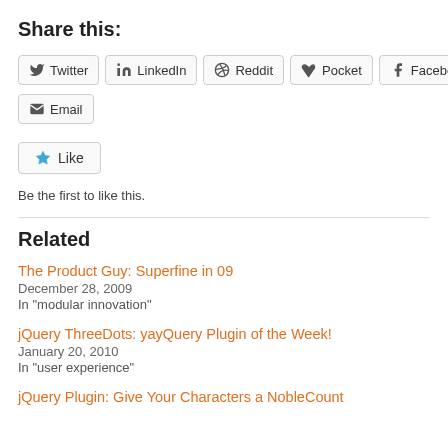Share this:
[Figure (infographic): Share buttons row: Twitter, LinkedIn, Reddit, Pocket, Facebook and Email icons with labels]
[Figure (infographic): Like button with star icon]
Be the first to like this.
Related
The Product Guy: Superfine in 09
December 28, 2009
In "modular innovation"
jQuery ThreeDots: yayQuery Plugin of the Week!
January 20, 2010
In "user experience"
jQuery Plugin: Give Your Characters a NobleCount